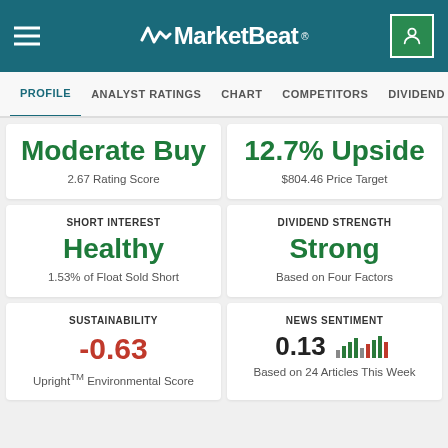MarketBeat
PROFILE | ANALYST RATINGS | CHART | COMPETITORS | DIVIDEND | EARNINGS
Moderate Buy
2.67 Rating Score
12.7% Upside
$804.46 Price Target
SHORT INTEREST
Healthy
1.53% of Float Sold Short
DIVIDEND STRENGTH
Strong
Based on Four Factors
SUSTAINABILITY
-0.63
Upright™ Environmental Score
NEWS SENTIMENT
0.13
Based on 24 Articles This Week